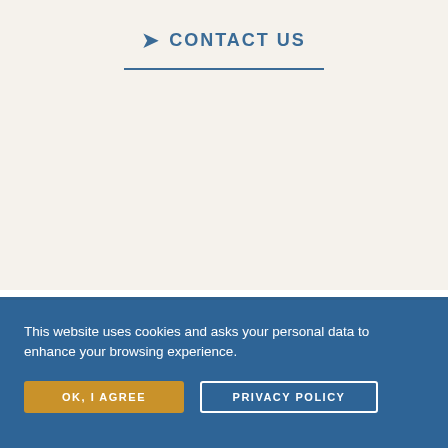CONTACT US
This website uses cookies and asks your personal data to enhance your browsing experience.
OK, I AGREE
PRIVACY POLICY